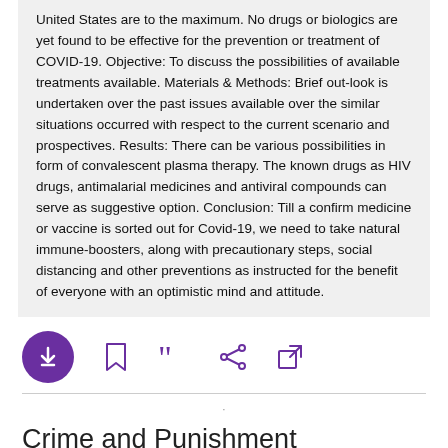United States are to the maximum. No drugs or biologics are yet found to be effective for the prevention or treatment of COVID-19. Objective: To discuss the possibilities of available treatments available. Materials & Methods: Brief out-look is undertaken over the past issues available over the similar situations occurred with respect to the current scenario and prospectives. Results: There can be various possibilities in form of convalescent plasma therapy. The known drugs as HIV drugs, antimalarial medicines and antiviral compounds can serve as suggestive option. Conclusion: Till a confirm medicine or vaccine is sorted out for Covid-19, we need to take natural immune-boosters, along with precautionary steps, social distancing and other preventions as instructed for the benefit of everyone with an optimistic mind and attitude.
[Figure (other): Action bar with download (purple circle with down arrow), bookmark, cite (quotation marks), share, and external link icons]
Crime and Punishment
10.1093/oso/9780190694272.003.0010   2017